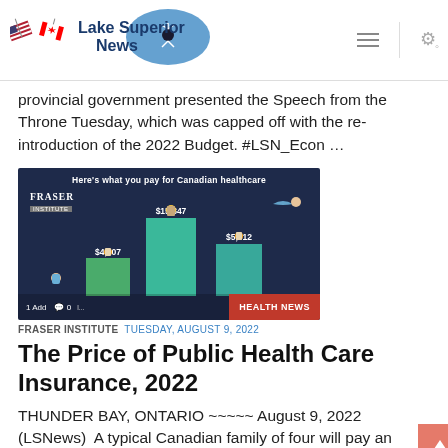Lake Superior News
provincial government presented the Speech from the Throne Tuesday, which was capped off with the re-introduction of the 2022 Budget. #LSN_Econ …
[Figure (infographic): Fraser Institute infographic: 'Here's what you pay for Canadian healthcare' showing three bars with figures $4,907, $15,847, $5,812 with illustrated figures standing on colored steps. Overlay shows HEALTH NEWS tag.]
FRASER INSTITUTE  TUESDAY, AUGUST 9, 2022
The Price of Public Health Care Insurance, 2022
THUNDER BAY, ONTARIO ~~~~~ August 9, 2022 (LSNews)  A typical Canadian family of four will pay an